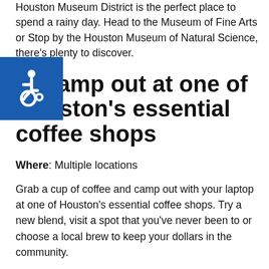Houston Museum District is the perfect place to spend a rainy day. Head to the Museum of Fine Arts or stop by the Houston Museum of Natural Science, there's plenty to discover.
[Figure (illustration): Blue accessibility wheelchair icon badge in top-left corner]
2. Camp out at one of Houston's essential coffee shops
Where: Multiple locations
Grab a cup of coffee and camp out with your laptop at one of Houston's essential coffee shops. Try a new blend, visit a spot that you've never been to or choose a local brew to keep your dollars in the community.
3. Climb at the Texas Rock Gym